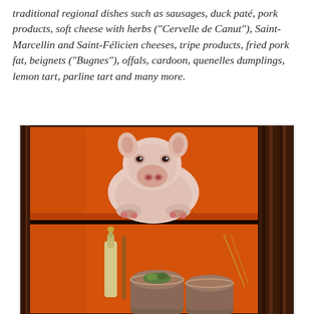traditional regional dishes such as sausages, duck paté, pork products, soft cheese with herbs ("Cervelle de Canut"), Saint-Marcellin and Saint-Félicien cheeses, tripe products, fried pork fat, beignets ("Bugnes"), offals, cardoon, quenelles dumplings, lemon tart, parline tart and many more.
[Figure (illustration): A painting on an orange background depicting a piglet sitting on a shelf in the upper panel, and cooking pots or containers with utensils in the lower panel, set inside a dark wooden frame structure.]